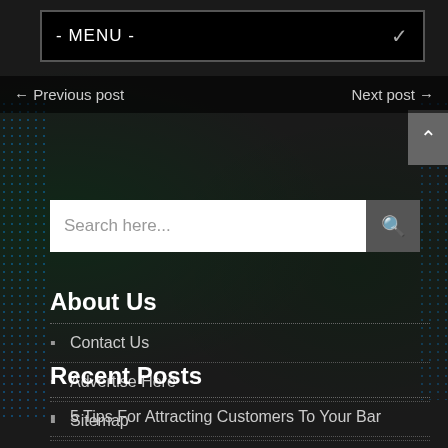- MENU -
← Previous post    Next post →
Search here...
About Us
Contact Us
Advertise Here
Sitemap
Disclosure Policy
Recent Posts
5 Tips For Attracting Customers To Your Bar
Building an On-Demand Medicine Delivery Service Like